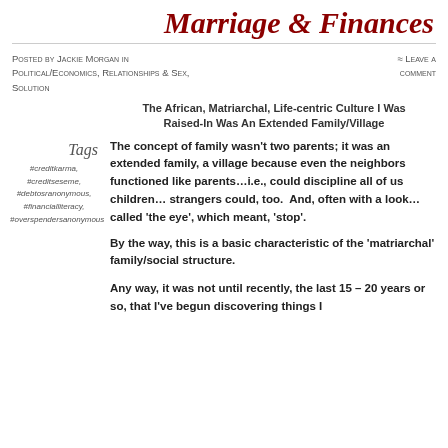Marriage & Finances
Posted by Jackie Morgan in Political/Economics, Relationships & Sex, Solution ≈ Leave a comment
The African, Matriarchal, Life-centric Culture I Was Raised-In Was An Extended Family/Village
Tags
#creditkarma, #creditseseme, #debtosranonymous, #financialliteracy, #overspendersanonymous
The concept of family wasn't two parents; it was an extended family, a village because even the neighbors functioned like parents…i.e., could discipline all of us children… strangers could, too.  And, often with a look…called 'the eye', which meant, 'stop'.
By the way, this is a basic characteristic of the 'matriarchal' family/social structure.
Any way, it was not until recently, the last 15 – 20 years or so, that I've begun discovering things I